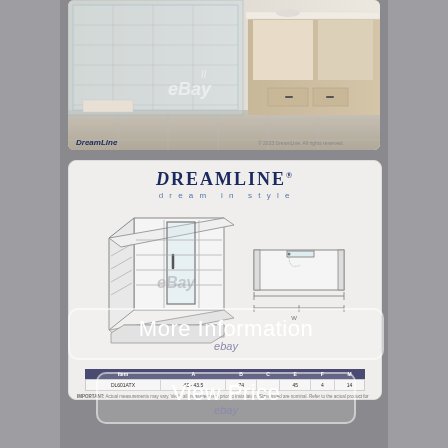[Figure (photo): Bathroom interior photo showing a modern shower enclosure with glass panels, wood cabinetry, and a vanity. DreamLine brand watermark visible. eBay watermark overlaid.]
[Figure (engineering-diagram): DreamLine technical schematic showing a shower enclosure from two angles (perspective view and top-plan view), with a specifications table below listing model number and dimensions. eBay watermark overlaid.]
More Information
ebay
View Price
ebay